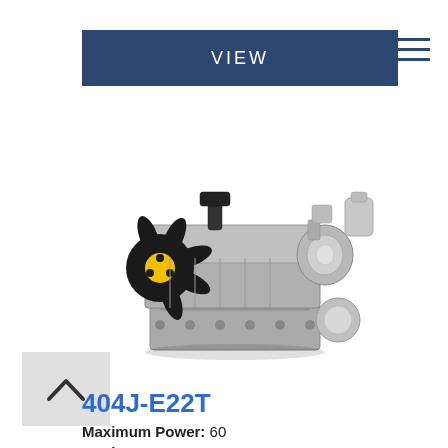VIEW
[Figure (photo): Perkins 404J-E22T diesel engine photograph showing the engine with fan, turbocharger, and block components on a white background]
404J-E22T
Maximum Power: 60
Maximum Torque: 164